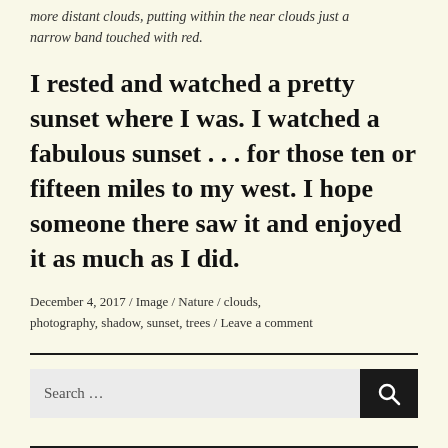more distant clouds, putting within the near clouds just a narrow band touched with red.
I rested and watched a pretty sunset where I was. I watched a fabulous sunset . . . for those ten or fifteen miles to my west. I hope someone there saw it and enjoyed it as much as I did.
December 4, 2017 / Image / Nature / clouds, photography, shadow, sunset, trees / Leave a comment